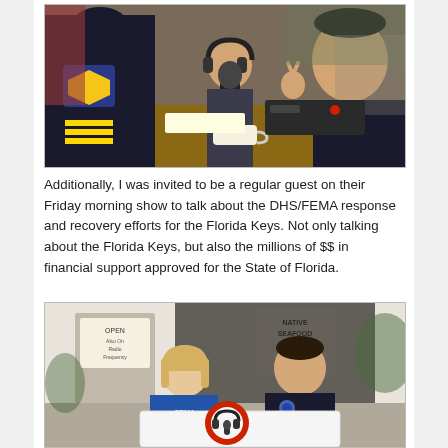[Figure (photo): A police sergeant and another uniformed officer in a cafe/restaurant setting with a woman speaking into a microphone wearing headphones, doing a radio broadcast. The officer on the right is making a peace sign.]
Additionally, I was invited to be a regular guest on their Friday morning show to talk about the DHS/FEMA response and recovery efforts for the Florida Keys. Not only talking about the Florida Keys, but also the millions of $$ in financial support approved for the State of Florida.
[Figure (photo): Two people standing outside a cafe/restaurant holding a banner with a logo showing headphones and a microphone. A woman in a blue FEMA shirt on the left and a man in a dark uniform on the right.]